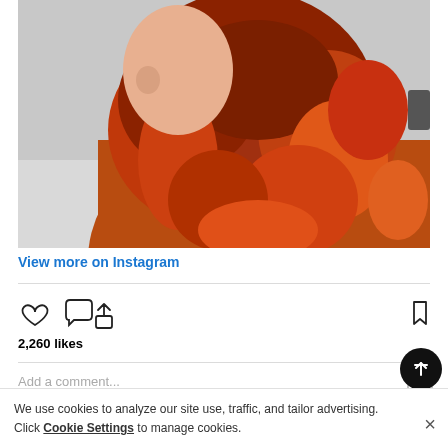[Figure (photo): Side profile of a person with curly red-orange hair wearing an orange knit sweater, against a light background.]
View more on Instagram
2,260 likes
Add a comment...
We use cookies to analyze our site use, traffic, and tailor advertising. Click Cookie Settings to manage cookies.